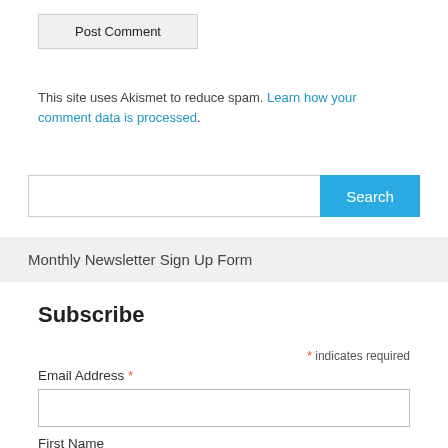Post Comment
This site uses Akismet to reduce spam. Learn how your comment data is processed.
[Figure (screenshot): Search bar with text input field and blue Search button]
Monthly Newsletter Sign Up Form
Subscribe
* indicates required
Email Address *
First Name